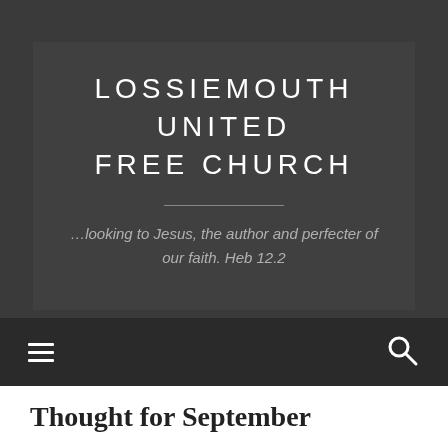LOSSIEMOUTH UNITED FREE CHURCH
…looking to Jesus, the author and perfecter of our faith. Heb 12.2
Thought for September